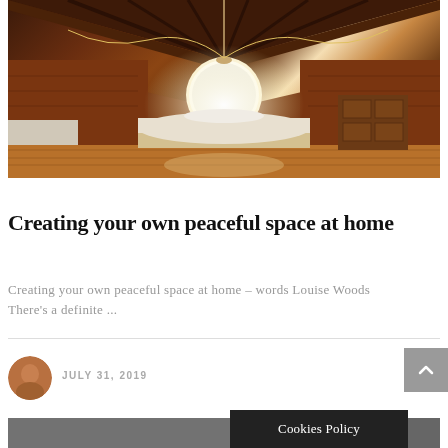[Figure (photo): Attic bedroom with sloped wooden ceiling, brick wall, round window with glowing light, low bed with white duvet, string lights, and wooden dresser on warm-toned hardwood floor]
Creating your own peaceful space at home
Creating your own peaceful space at home – words Louise Woods There's a definite ...
JULY 31, 2019
[Figure (photo): Partial view of a second article image, greyscale, partially obscured by Cookies Policy banner]
Cookies Policy